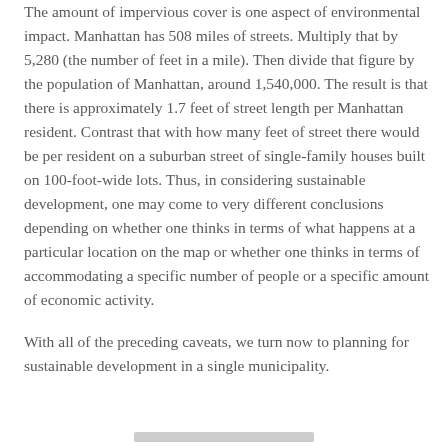The amount of impervious cover is one aspect of environmental impact. Manhattan has 508 miles of streets. Multiply that by 5,280 (the number of feet in a mile). Then divide that figure by the population of Manhattan, around 1,540,000. The result is that there is approximately 1.7 feet of street length per Manhattan resident. Contrast that with how many feet of street there would be per resident on a suburban street of single-family houses built on 100-foot-wide lots. Thus, in considering sustainable development, one may come to very different conclusions depending on whether one thinks in terms of what happens at a particular location on the map or whether one thinks in terms of accommodating a specific number of people or a specific amount of economic activity.
With all of the preceding caveats, we turn now to planning for sustainable development in a single municipality.